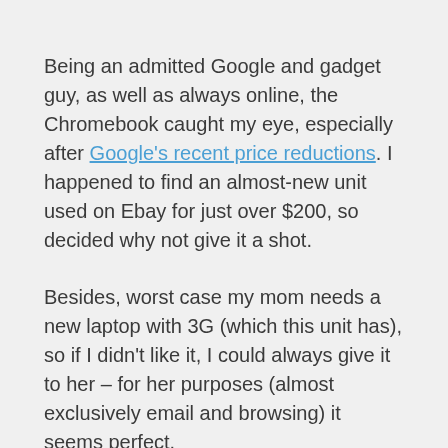Being an admitted Google and gadget guy, as well as always online, the Chromebook caught my eye, especially after Google's recent price reductions. I happened to find an almost-new unit used on Ebay for just over $200, so decided why not give it a shot.
Besides, worst case my mom needs a new laptop with 3G (which this unit has), so if I didn't like it, I could always give it to her – for her purposes (almost exclusively email and browsing) it seems perfect.
I've been using it for the past few days, and while there are some very cool things, I'm not sure I'm fully sold. It's nice to be able to start up in 8 seconds and be immediately online in Chrome. However, while the startup experience is fast, the browsing itself isn't particularly